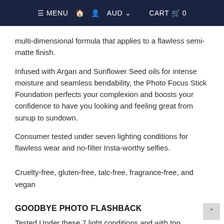≡ MENU  🏠  👤  AUD ▾    CART 🛍 0
multi-dimensional formula that applies to a flawless semi-matte finish.
Infused with Argan and Sunflower Seed oils for intense moisture and seamless bendability, the Photo Focus Stick Foundation perfects your complexion and boosts your confidence to have you looking and feeling great from sunup to sundown.
Consumer tested under seven lighting conditions for flawless wear and no-filter Insta-worthy selfies.
Cruelty-free, gluten-free, talc-free, fragrance-free, and vegan
GOODBYE PHOTO FLASHBACK
Tested Under these 7 light conditions and with top